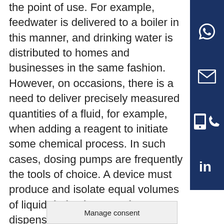the point of use. For example, feedwater is delivered to a boiler in this manner, and drinking water is distributed to homes and businesses in the same fashion. However, on occasions, there is a need to deliver precisely measured quantities of a fluid, for example, when adding a reagent to initiate some chemical process. In such cases, dosing pumps are frequently the tools of choice. A device must produce and isolate equal volumes of liquid during its operation to dispense a measured amount of fluid.

Four main types of equipment are available for this purpose, and each achieves the measurement differently.
[Figure (other): Dark blue vertical sidebar with social media icons: WhatsApp, email (envelope), phone, LinkedIn]
Manage consent